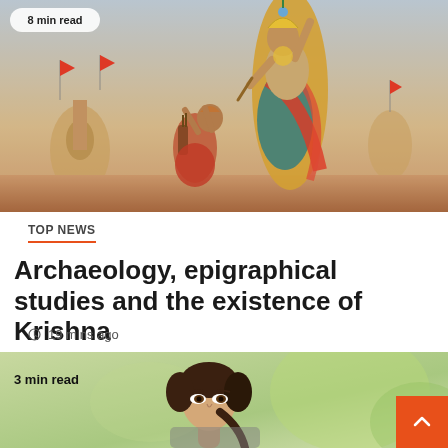[Figure (illustration): Hindu religious painting showing Krishna standing tall in ornate yellow garments and teal dhoti, one hand raised pointing upward, the other holding a flute. A devotee kneels before him with hands joined in prayer. Background shows a battlefield scene with flags, chariots, and a cloudy sky. A badge in the upper-left corner reads '8 min read'.]
TOP NEWS
Archaeology, epigraphical studies and the existence of Krishna
19 mins ago
[Figure (photo): Partial photo of a woman with dark hair pulled back, looking slightly downward. Green blurred background. Badge in upper-left reads '3 min read'. An orange scroll-to-top button with a white upward chevron is in the lower right corner.]